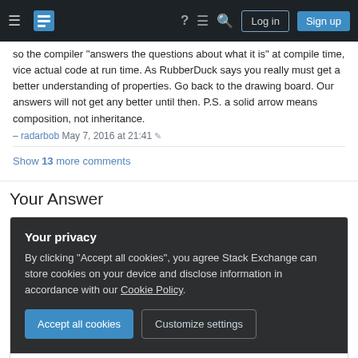Stack Exchange navigation bar with Log in and Sign up buttons
so the compiler "answers the questions about what it is" at compile time, vice actual code at run time. As RubberDuck says you really must get a better understanding of properties. Go back to the drawing board. Our answers will not get any better until then. P.S. a solid arrow means composition, not inheritance. – radarbob May 7, 2016 at 21:41
Show 13 more comments
Your Answer
Your privacy
By clicking "Accept all cookies", you agree Stack Exchange can store cookies on your device and disclose information in accordance with our Cookie Policy.
Accept all cookies   Customize settings